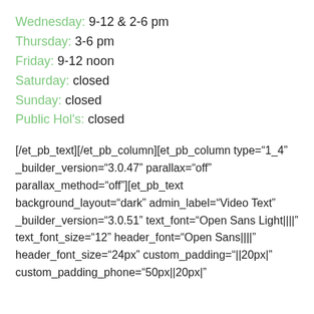Wednesday: 9-12 & 2-6 pm
Thursday: 3-6 pm
Friday: 9-12 noon
Saturday: closed
Sunday: closed
Public Hol's: closed
[/et_pb_text][/et_pb_column][et_pb_column type="1_4" _builder_version="3.0.47" parallax="off" parallax_method="off"][et_pb_text background_layout="dark" admin_label="Video Text" _builder_version="3.0.51" text_font="Open Sans Light||||" text_font_size="12" header_font="Open Sans||||" header_font_size="24px" custom_padding="||20px|" custom_padding_phone="50px||20px|"